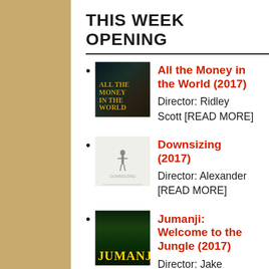THIS WEEK OPENING
All the Money in the World (2017)
Director: Ridley Scott [READ MORE]
Downsizing (2017)
Director: Alexander [READ MORE]
Jumanji: Welcome to the Jungle (2017)
Director: Jake Kasdan [READ MORE]
Star Wars: The Last Jedi (2017)
Director: Rian Johnson [READ